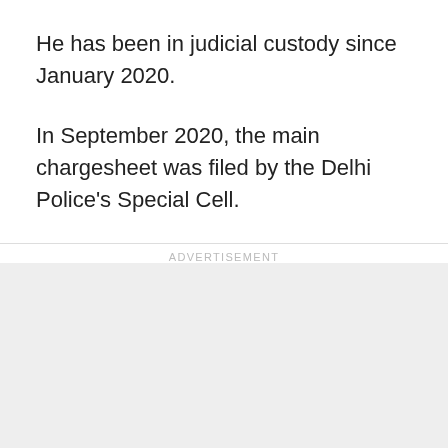He has been in judicial custody since January 2020.
In September 2020, the main chargesheet was filed by the Delhi Police's Special Cell.
ADVERTISEMENT